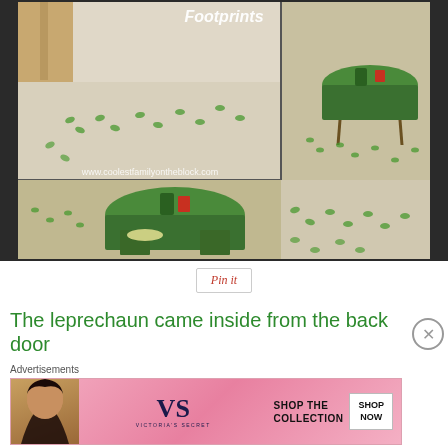[Figure (photo): Collage of four photos showing green leprechaun footprints on a tile floor leading through a house, with green-draped tables and St. Patrick's Day decorations. Text overlay reads 'Footprints' and 'www.coolestfamilyontheblock.com']
[Figure (other): Pinterest 'Pin it' button]
The leprechaun came inside from the back door
Advertisements
[Figure (other): Victoria's Secret advertisement banner: 'SHOP THE COLLECTION' with 'SHOP NOW' button]